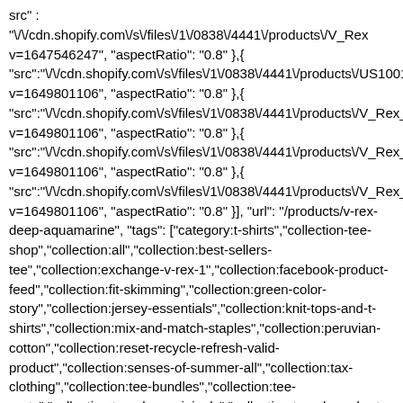src" : "//cdn.shopify.com/s/files/1/0838/4441/products/V_Rex v=1647546247", "aspectRatio": "0.8" },{ "src":"//cdn.shopify.com/s/files/1/0838/4441/products/US1001 v=1649801106", "aspectRatio": "0.8" },{ "src":"//cdn.shopify.com/s/files/1/0838/4441/products/V_Rex_ v=1649801106", "aspectRatio": "0.8" },{ "src":"//cdn.shopify.com/s/files/1/0838/4441/products/V_Rex_ v=1649801106", "aspectRatio": "0.8" },{ "src":"//cdn.shopify.com/s/files/1/0838/4441/products/V_Rex_ v=1649801106", "aspectRatio": "0.8" }], "url": "/products/v-rex-deep-aquamarine", "tags": ["category:t-shirts","collection-tee-shop","collection:all","collection:best-sellers-tee","collection:exchange-v-rex-1","collection:facebook-product-feed","collection:fit-skimming","collection:green-color-story","collection:jersey-essentials","collection:knit-tops-and-t-shirts","collection:mix-and-match-staples","collection:peruvian-cotton","collection:reset-recycle-refresh-valid-product","collection:senses-of-summer-all","collection:tax-clothing","collection:tee-bundles","collection:tee-party","collection:tee-shop-originals","collection:tee-shop-short-sleeve","collection:tee-shop-v-neck","collection:the-athleisure-capsule","collection:the-core-capsule-lite","collection:the-iconic-tee-rex","collection:the-stay-polished-capsule","collection:the-tee-rex","collection:tops","collection:under-100","collection:under-60","collection:welcome-tee","collections:our-signature-v-...